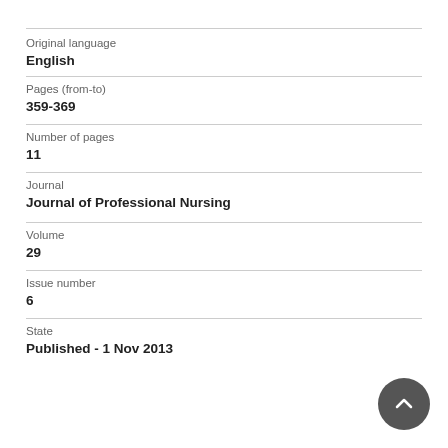Original language
English
Pages (from-to)
359-369
Number of pages
11
Journal
Journal of Professional Nursing
Volume
29
Issue number
6
State
Published - 1 Nov 2013